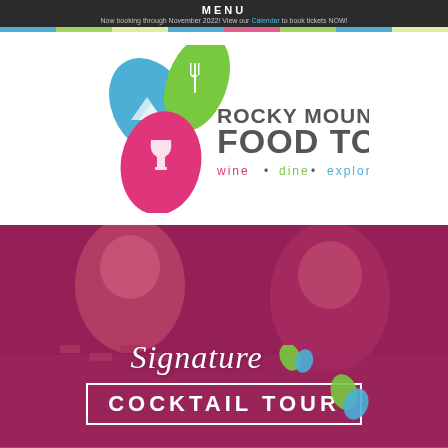MENU
Now booking through November 2022! View our Calendar to book tickets NOW!
[Figure (logo): Rocky Mountain Food Tours logo with wine glass and leaf icons. Tagline: wine • dine • explore]
[Figure (photo): Photo of two women socializing with cocktails, overlaid with magenta tint. Text overlay reads 'Signature COCKTAIL TOUR' with decorative leaf icons.]